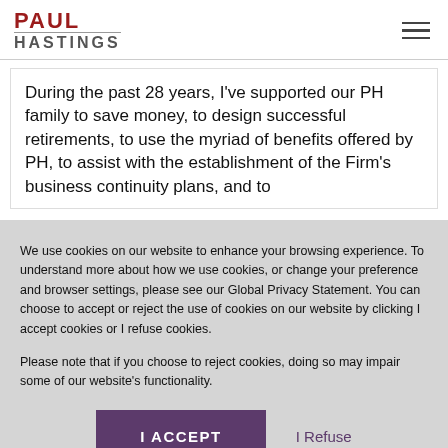PAUL HASTINGS
During the past 28 years, I've supported our PH family to save money, to design successful retirements, to use the myriad of benefits offered by PH, to assist with the establishment of the Firm's business continuity plans, and to
We use cookies on our website to enhance your browsing experience. To understand more about how we use cookies, or change your preference and browser settings, please see our Global Privacy Statement. You can choose to accept or reject the use of cookies on our website by clicking I accept cookies or I refuse cookies.
Please note that if you choose to reject cookies, doing so may impair some of our website's functionality.